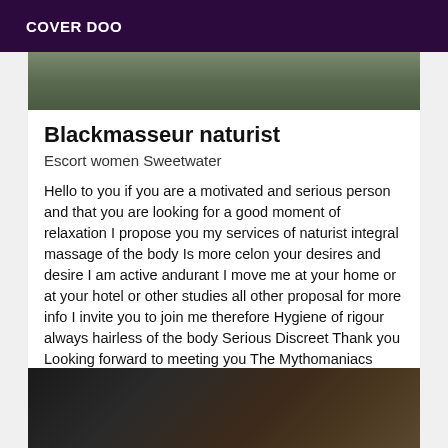COVER DOO
[Figure (photo): Top portion of a photo, partially cropped, showing an outdoor or muted background scene]
Blackmasseur naturist
Escort women Sweetwater
Hello to you if you are a motivated and serious person and that you are looking for a good moment of relaxation I propose you my services of naturist integral massage of the body Is more celon your desires and desire I am active andurant I move me at your home or at your hotel or other studies all other proposal for more info I invite you to join me therefore Hygiene of rigour always hairless of the body Serious Discreet Thank you Looking forward to meeting you The Mythomaniacs Joker fantasist Mentally ill Thank you for passing your way
[Figure (photo): Bottom portion of a photo showing a person in dark clothing against a light wall background]